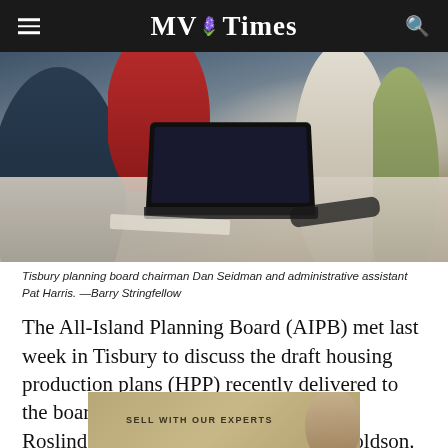MV Times
[Figure (photo): People seated around a conference table with a laptop open; a meeting of the Tisbury planning board with chairman Dan Seidman and administrative assistant Pat Harris.]
Tisbury planning board chairman Dan Seidman and administrative assistant Pat Harris. —Barry Stringfellow
The All-Island Planning Board (AIPB) met last week in Tisbury to discuss the draft housing production plans (HPP) recently delivered to the board of selectmen in each town by Roslindale-based consulting firm JM Goldson.
[Figure (photo): Advertisement banner reading SELL WITH OUR EXPERTS with a decorative figure on the right side, shown partially at the bottom of the page.]